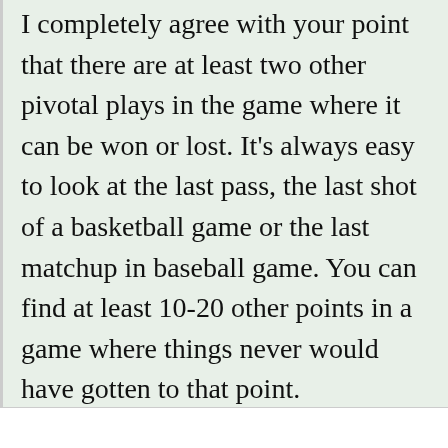I completely agree with your point that there are at least two other pivotal plays in the game where it can be won or lost. It's always easy to look at the last pass, the last shot of a basketball game or the last matchup in baseball game. You can find at least 10-20 other points in a game where things never would have gotten to that point.
Reply